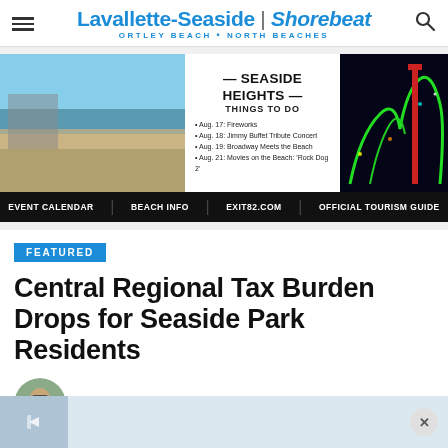Lavallette-Seaside | Shorebeat — ORTLEY BEACH • NORTH BEACHES
[Figure (photo): Seaside Heights advertisement banner featuring beach aerial photo on left, event listing in center (SEASIDE HEIGHTS THINGS TO DO: Aug. 17 Fireworks, Aug. 18 Jimmy Buffet Tribute Concert, Aug. 19 Broadway Meets the Beach, Aug. 21 Movies on the Beach: Rock Dog 2), amusement park night photo on right, and bottom bar: EVENT CALENDAR | BEACH INFO | EXIT82.COM | OFFICIAL TOURISM GUIDE]
FEATURED
Central Regional Tax Burden Drops for Seaside Park Residents
by Daniel Nee  May 31, 2016